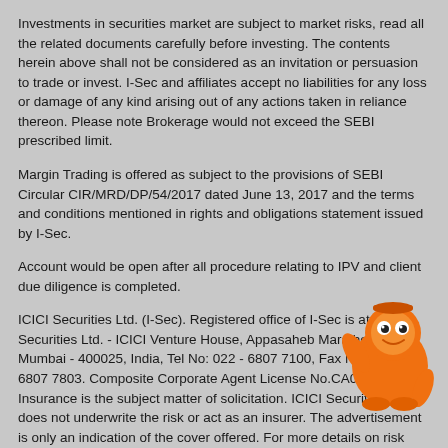Investments in securities market are subject to market risks, read all the related documents carefully before investing. The contents herein above shall not be considered as an invitation or persuasion to trade or invest. I-Sec and affiliates accept no liabilities for any loss or damage of any kind arising out of any actions taken in reliance thereon. Please note Brokerage would not exceed the SEBI prescribed limit.
Margin Trading is offered as subject to the provisions of SEBI Circular CIR/MRD/DP/54/2017 dated June 13, 2017 and the terms and conditions mentioned in rights and obligations statement issued by I-Sec.
Account would be open after all procedure relating to IPV and client due diligence is completed.
ICICI Securities Ltd. (I-Sec). Registered office of I-Sec is at ICICI Securities Ltd. - ICICI Venture House, Appasaheb Marathe Marg, Mumbai - 400025, India, Tel No: 022 - 6807 7100, Fax No: 022 - 6807 7803. Composite Corporate Agent License No.CA0113. Insurance is the subject matter of solicitation. ICICI Securities Ltd. does not underwrite the risk or act as an insurer. The advertisement is only an indication of the cover offered. For more details on risk factors, terms, conditions and exclusions, please read the product brochure carefully before concluding a sale.
[Figure (illustration): Orange cartoon mascot character (round orange figure with eyes and raised hand)]
Impact of COVID19 on clients: